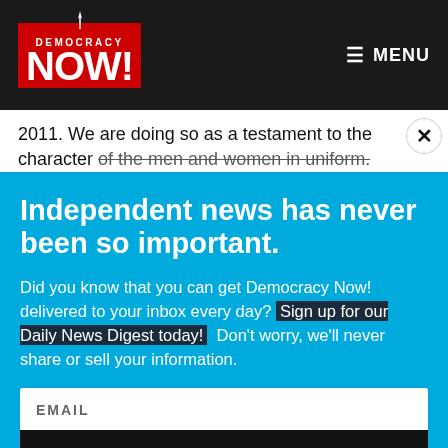Democracy Now! — MENU
2011. We are doing so as a testament to the character of the men and women in uniform. Thanks to their
Independent news has never been so important.
Did you know that you can get Democracy Now! delivered to your inbox every day? Sign up for our Daily News Digest today! Don't worry, we'll never share or sell your information.
EMAIL
SIGN UP!